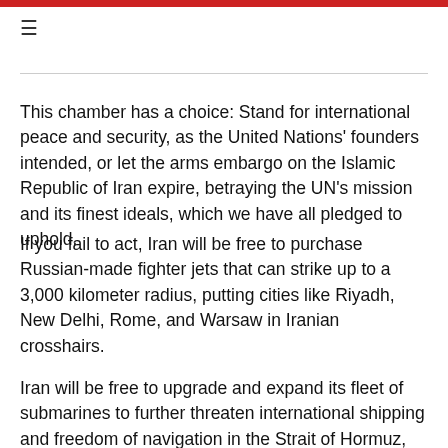☰
Redacted partial header text
This chamber has a choice: Stand for international peace and security, as the United Nations' founders intended, or let the arms embargo on the Islamic Republic of Iran expire, betraying the UN's mission and its finest ideals, which we have all pledged to uphold.
If you fail to act, Iran will be free to purchase Russian-made fighter jets that can strike up to a 3,000 kilometer radius, putting cities like Riyadh, New Delhi, Rome, and Warsaw in Iranian crosshairs.
Iran will be free to upgrade and expand its fleet of submarines to further threaten international shipping and freedom of navigation in the Strait of Hormuz, the Persian